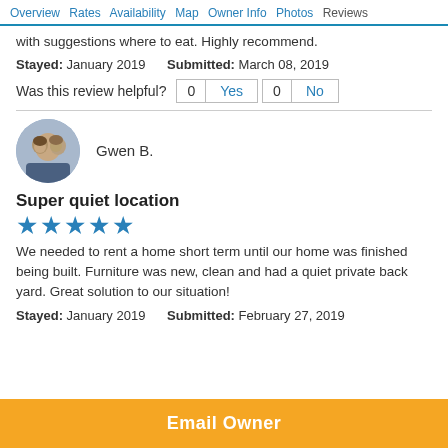Overview  Rates  Availability  Map  Owner Info  Photos  Reviews
with suggestions where to eat. Highly recommend.
Stayed: January 2019    Submitted: March 08, 2019
Was this review helpful?  0  Yes  0  No
Gwen B.
Super quiet location
★★★★★
We needed to rent a home short term until our home was finished being built. Furniture was new, clean and had a quiet private back yard. Great solution to our situation!
Stayed: January 2019    Submitted: February 27, 2019
Email Owner